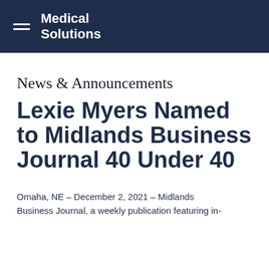Medical Solutions
News & Announcements
Lexie Myers Named to Midlands Business Journal 40 Under 40
Omaha, NE – December 2, 2021 – Midlands Business Journal, a weekly publication featuring in-